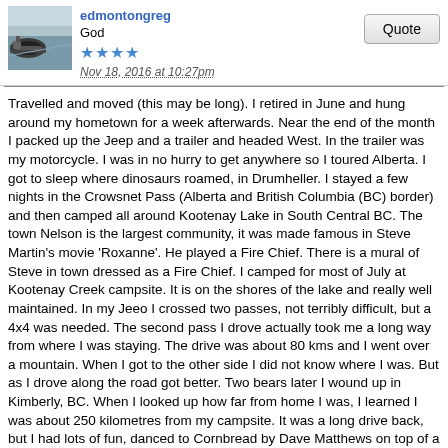edmontongreg
God
Nov 18, 2016 at 10:27pm
Quote
Travelled and moved (this may be long). I retired in June and hung around my hometown for a week afterwards. Near the end of the month I packed up the Jeep and a trailer and headed West. In the trailer was my motorcycle. I was in no hurry to get anywhere so I toured Alberta. I got to sleep where dinosaurs roamed, in Drumheller. I stayed a few nights in the Crowsnet Pass (Alberta and British Columbia (BC) border) and then camped all around Kootenay Lake in South Central BC. The town Nelson is the largest community, it was made famous in Steve Martin's movie 'Roxanne'. He played a Fire Chief. There is a mural of Steve in town dressed as a Fire Chief. I camped for most of July at Kootenay Creek campsite. It is on the shores of the lake and really well maintained. In my Jeeo I crossed two passes, not terribly difficult, but a 4x4 was needed. The second pass I drove actually took me a long way from where I was staying. The drive was about 80 kms and I went over a mountain. When I got to the other side I did not know where I was. But as I drove along the road got better. Two bears later I wound up in Kimberly, BC. When I looked up how far from home I was, I learned I was about 250 kilometres from my campsite. It was a long drive back, but I had lots of fun, danced to Cornbread by Dave Matthews on top of a mountain - by myself.
The next day I was riding my bike North of Kaslo BC and wiped out. Three broken ribs and a lot of scrapes. The ribs were the worst part, I couldn't lie